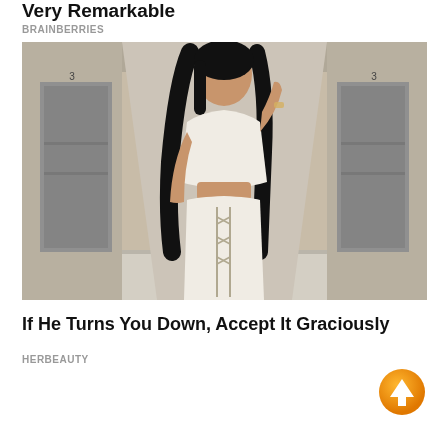Very Remarkable
BRAINBERRIES
[Figure (photo): A woman wearing a white crop top and white lace-up pants posing in a corridor with elevator doors on both sides.]
If He Turns You Down, Accept It Graciously
HERBEAUTY